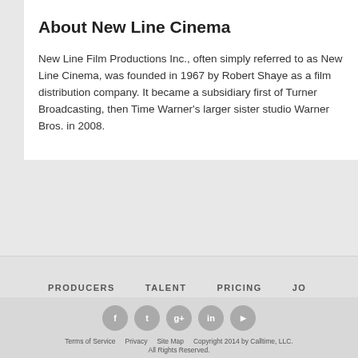About New Line Cinema
New Line Film Productions Inc., often simply referred to as New Line Cinema, was founded in 1967 by Robert Shaye as a film distribution company. It became a subsidiary first of Turner Broadcasting, then Time Warner's larger sister studio Warner Bros. in 2008.
PRODUCERS   TALENT   PRICING   JO
Terms of Service   Privacy   Site Map   Copyright 2014 by Calltime, LLC. All Rights Reserved.